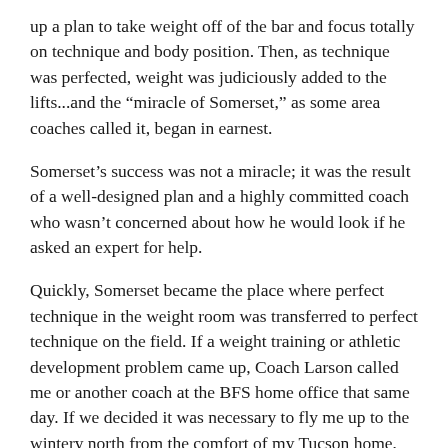up a plan to take weight off of the bar and focus totally on technique and body position. Then, as technique was perfected, weight was judiciously added to the lifts...and the “miracle of Somerset,” as some area coaches called it, began in earnest.
Somerset’s success was not a miracle; it was the result of a well-designed plan and a highly committed coach who wasn’t concerned about how he would look if he asked an expert for help.
Quickly, Somerset became the place where perfect technique in the weight room was transferred to perfect technique on the field. If a weight training or athletic development problem came up, Coach Larson called me or another coach at the BFS home office that same day. If we decided it was necessary to fly me up to the wintery north from the comfort of my Tucson home, we did it. If he needed a piece of equipment to help solve a problem, he found a way to fund it. If the athletes needed a “gentle reminder” of how success was achieved in their hometown, I was there to help the coach who was now a good friend.